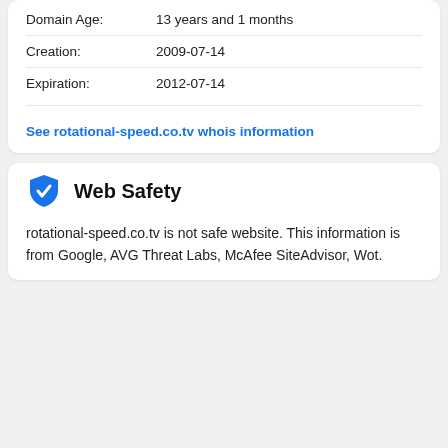Domain Age: 13 years and 1 months
Creation: 2009-07-14
Expiration: 2012-07-14
See rotational-speed.co.tv whois information
Web Safety
rotational-speed.co.tv is not safe website. This information is from Google, AVG Threat Labs, McAfee SiteAdvisor, Wot.